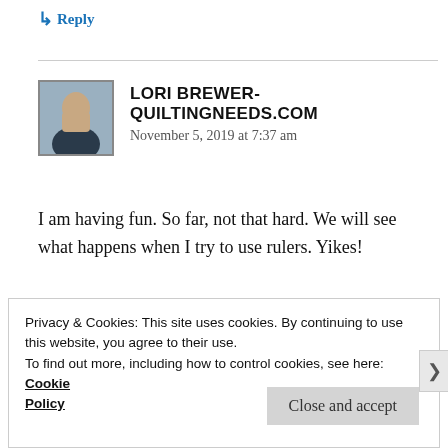↳ Reply
LORI BREWER-QUILTINGNEEDS.COM
November 5, 2019 at 7:37 am
I am having fun. So far, not that hard. We will see what happens when I try to use rulers. Yikes!
★ Liked by 1 person
↳ Reply
Privacy & Cookies: This site uses cookies. By continuing to use this website, you agree to their use.
To find out more, including how to control cookies, see here: Cookie Policy
Close and accept